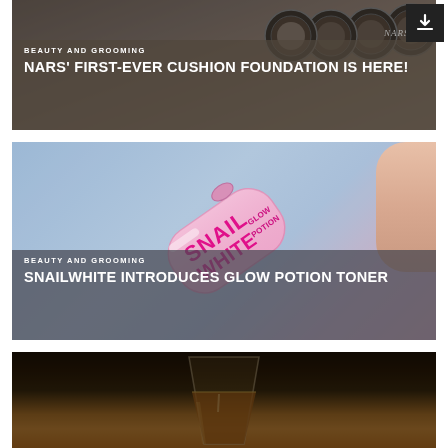[Figure (photo): NARS cushion foundation products (dark circular compacts) on gray background with semi-transparent dark overlay]
BEAUTY AND GROOMING
NARS' FIRST-EVER CUSHION FOUNDATION IS HERE!
[Figure (photo): SnailWhite Glow Potion toner bottle in pink/rose color held against light blue background]
BEAUTY AND GROOMING
SNAILWHITE INTRODUCES GLOW POTION TONER
[Figure (photo): Partial view of a glass with amber/orange liquid on dark background (cropped at bottom of page)]